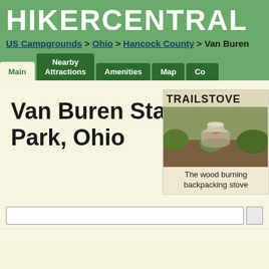HIKERCENTRAL
US Campgrounds > Ohio > Hancock County > Van Buren
Main | Nearby Attractions | Amenities | Map | Con...
Van Buren State Park, Ohio
[Figure (photo): TRAILSTOVE advertisement showing a wood burning backpacking stove with the caption 'The wood burning backpacking stove']